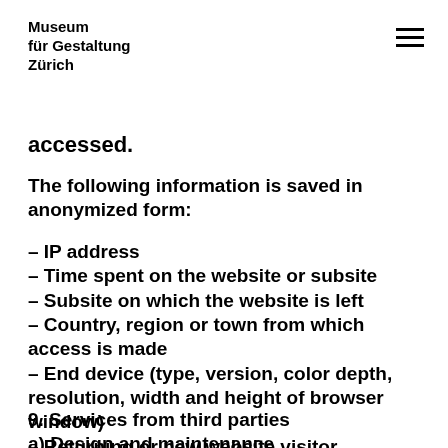Museum für Gestaltung Zürich
accessed.
The following information is saved in anonymized form:
– IP address
– Time spent on the website or subsite
– Subsite on which the website is left
– Country, region or town from which access is made
– End device (type, version, color depth, resolution, width and height of browser window)
– Returning or new website visitor
9. Services from third parties
a) Design and maintenance